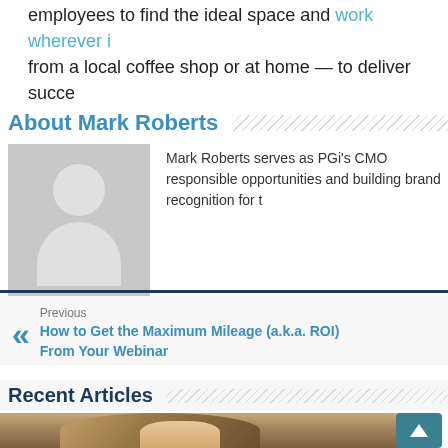employees to find the ideal space and work wherever it — from a local coffee shop or at home — to deliver succe
About Mark Roberts
[Figure (illustration): Generic person avatar placeholder image with gray background]
Mark Roberts serves as PGi's CMO responsible opportunities and building brand recognition for t
Previous
How to Get the Maximum Mileage (a.k.a. ROI) From Your Webinar
Recent Articles
[Figure (photo): Photo of a woman, partially visible, bottom of page]